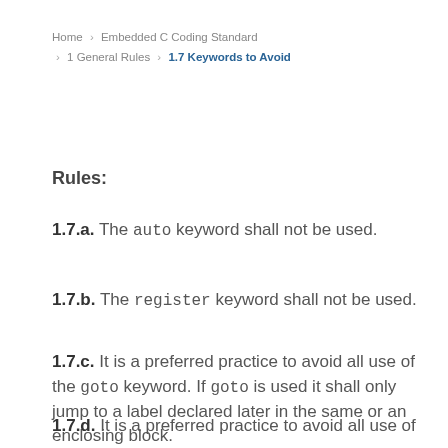Home > Embedded C Coding Standard > 1 General Rules > 1.7 Keywords to Avoid
Rules:
1.7.a. The auto keyword shall not be used.
1.7.b. The register keyword shall not be used.
1.7.c. It is a preferred practice to avoid all use of the goto keyword. If goto is used it shall only jump to a label declared later in the same or an enclosing block.
1.7.d. It is a preferred practice to avoid all use of